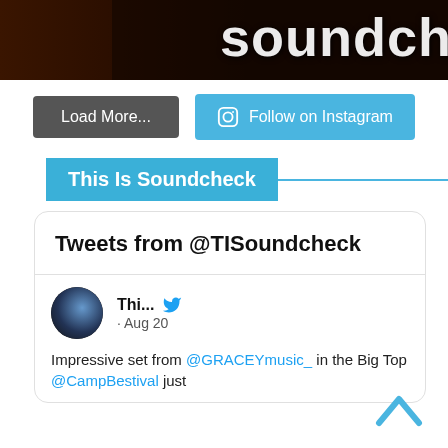[Figure (photo): Dark banner image with large white text reading 'soundch' (cropped), dark brown/orange background with person silhouette on left]
[Figure (infographic): Two buttons: grey 'Load More...' button and blue 'Follow on Instagram' button with Instagram icon]
This Is Soundcheck
Tweets from @TISoundcheck
Thi... · Aug 20
Impressive set from @GRACEYmusic_ in the Big Top @CampBestival just